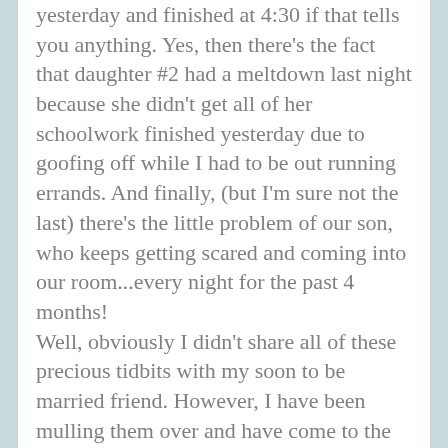yesterday and finished at 4:30 if that tells you anything. Yes, then there's the fact that daughter #2 had a meltdown last night because she didn't get all of her schoolwork finished yesterday due to goofing off while I had to be out running errands. And finally, (but I'm sure not the last) there's the little problem of our son, who keeps getting scared and coming into our room...every night for the past 4 months! Well, obviously I didn't share all of these precious tidbits with my soon to be married friend. However, I have been mulling them over and have come to the conclusion that I need to focus on the progress. I may not be wife, mother, friend, and teacher of the year anytime soon, but I have accomplished some little things along the way: like the bread I made today was pretty yummy. Doesn't yet qualify